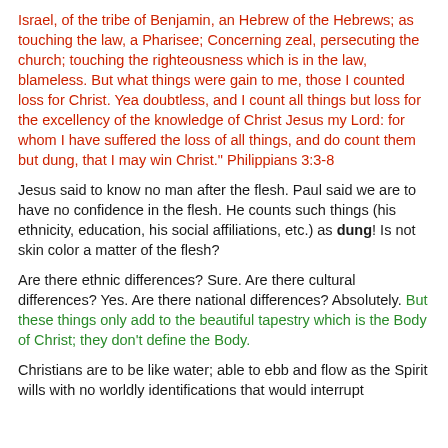Israel, of the tribe of Benjamin, an Hebrew of the Hebrews; as touching the law, a Pharisee; Concerning zeal, persecuting the church; touching the righteousness which is in the law, blameless. But what things were gain to me, those I counted loss for Christ. Yea doubtless, and I count all things but loss for the excellency of the knowledge of Christ Jesus my Lord: for whom I have suffered the loss of all things, and do count them but dung, that I may win Christ." Philippians 3:3-8
Jesus said to know no man after the flesh. Paul said we are to have no confidence in the flesh. He counts such things (his ethnicity, education, his social affiliations, etc.) as dung! Is not skin color a matter of the flesh?
Are there ethnic differences? Sure. Are there cultural differences? Yes. Are there national differences? Absolutely. But these things only add to the beautiful tapestry which is the Body of Christ; they don't define the Body.
Christians are to be like water; able to ebb and flow as the Spirit wills with no worldly identifications that would interrupt